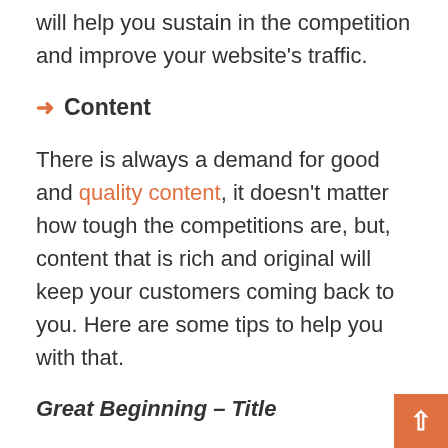will help you sustain in the competition and improve your website’s traffic.
→ Content
There is always a demand for good and quality content, it doesn’t matter how tough the competitions are, but, content that is rich and original will keep your customers coming back to you. Here are some tips to help you with that.
Great Beginning – Title
What other better way is there to attract people to your content than a catchy and resourceful title? Title of an article is the first thing that a reader will see before getting to your article. And that usually will be the only thing they will be seeing, if it isn’t